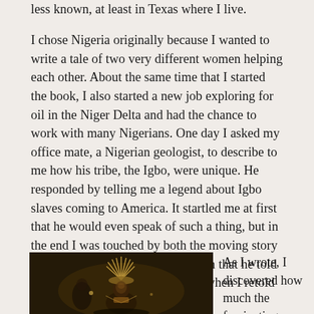less known, at least in Texas where I live.
I chose Nigeria originally because I wanted to write a tale of two very different women helping each other. About the same time that I started the book, I also started a new job exploring for oil in the Niger Delta and had the chance to work with many Nigerians. One day I asked my office mate, a Nigerian geologist, to describe to me how his tribe, the Igbo, were unique. He responded by telling me a legend about Igbo slaves coming to America. It startled me at first that he would even speak of such a thing, but in the end I was touched by both the moving story he told, and by the powerful way in that he told it. I tried to capture each of those when I retold this scene in xo.
[Figure (photo): A person in traditional Nigerian/Igbo ceremonial costume with a feathered headdress, photographed in low light]
As I wrote, I discovered how much the fascinating details of a far off